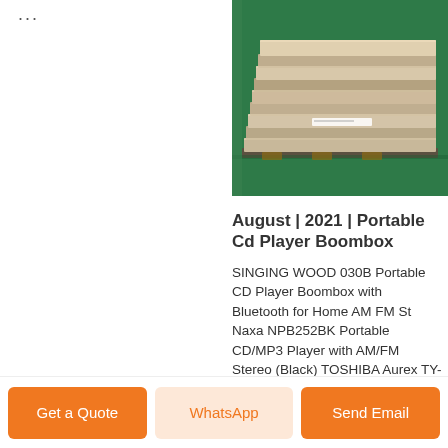[Figure (photo): Stack of metal/steel plates in a warehouse with green floor, viewed from slight angle]
August | 2021 | Portable Cd Player Boombox
SINGING WOOD 030B Portable CD Player Boombox with Bluetooth for Home AM FM St Naxa NPB252BK Portable CD/MP3 Player with AM/FM Stereo (Black) TOSHIBA Aurex TY-AK2
Get a Quote | WhatsApp | Send Email